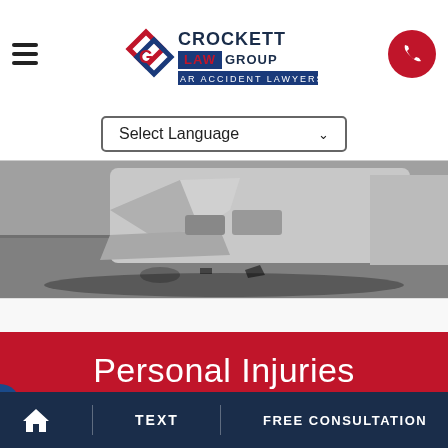Crockett Law Group — Car Accident Lawyers
Select Language
[Figure (photo): Damaged car front end after accident, showing crumpled bumper and hood on a road surface]
Personal Injuries
[Figure (photo): Hospital corridor with beige walls and open doors, blurred background]
Home | TEXT | FREE CONSULTATION